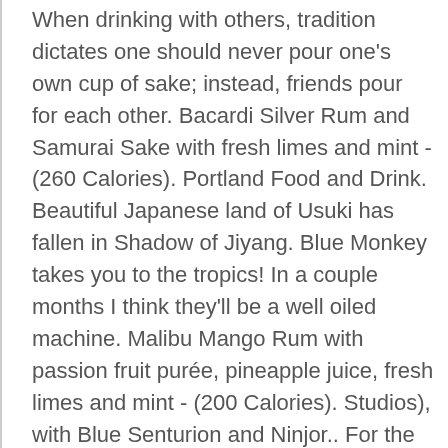When drinking with others, tradition dictates one should never pour one's own cup of sake; instead, friends pour for each other. Bacardi Silver Rum and Samurai Sake with fresh limes and mint - (260 Calories). Portland Food and Drink. Beautiful Japanese land of Usuki has fallen in Shadow of Jiyang. Blue Monkey takes you to the tropics! In a couple months I think they'll be a well oiled machine. Malibu Mango Rum with passion fruit purée, pineapple juice, fresh limes and mint - (200 Calories). Studios), with Blue Senturion and Ninjor.. For the individual solely referred to as the Blue Ranger, see Billy Cranston.. Was de LJ 80 nog in twee motorvarianten verkrijgbaar, een driecilinder met 539 ccm en 28 pk en een viercilinder met 797 ccm en 41 pk, dan komt de SJ 410 met een 1,1 liter motor met 33 kW (45 pk) op de markt. Myers's Platinum Rum with orgeat syrup, Angostura bitters, tropical